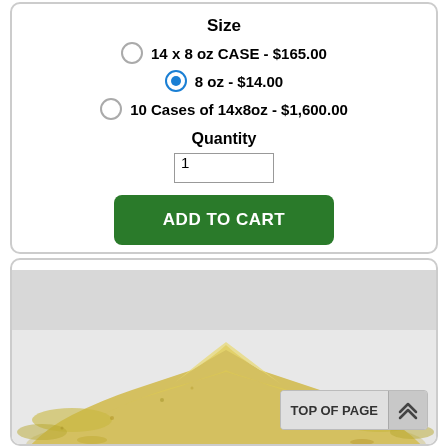Size
14 x 8 oz CASE - $165.00
8 oz - $14.00
10 Cases of 14x8oz - $1,600.00
Quantity
1
ADD TO CART
[Figure (photo): A pile of yellow-green powder (likely a supplement or spice) on a light gray background]